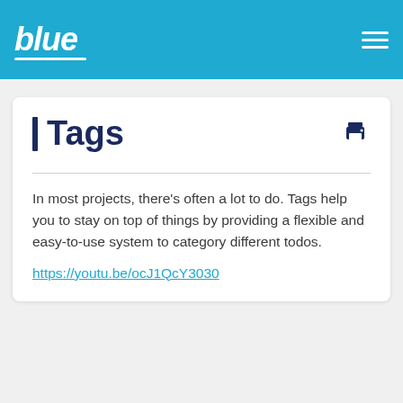blue [logo] | hamburger menu
🏷Tags
In most projects, there's often a lot to do. Tags help you to stay on top of things by providing a flexible and easy-to-use system to category different todos.
https://youtu.be/ocJ1QcY3030